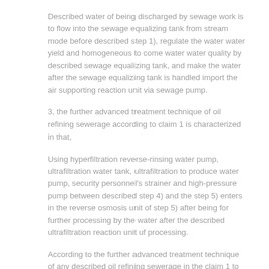Described water of being discharged by sewage work is to flow into the sewage equalizing tank from stream mode before described step 1), regulate the water water yield and homogeneous to come water water quality by described sewage equalizing tank, and make the water after the sewage equalizing tank is handled import the air supporting reaction unit via sewage pump.
3, the further advanced treatment technique of oil refining sewerage according to claim 1 is characterized in that,
Using hyperfiltration reverse-rinsing water pump, ultrafiltration water tank, ultrafiltration to produce water pump, security personnel's strainer and high-pressure pump between described step 4) and the step 5) enters in the reverse osmosis unit of step 5) after being for further processing by the water after the described ultrafiltration reaction unit uf processing.
According to the further advanced treatment technique of any described oil refining sewerage in the claim 1 to 3, it is characterized in that 4, increasing after the described step 5) has the ion exchange treatment step.